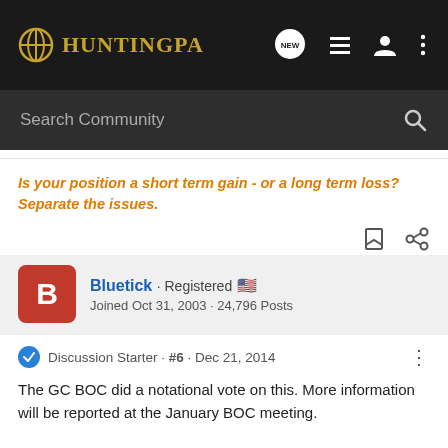HuntingPA
Search Community
Is your position a short term gain - or a long term loss? Separate the issues.
Bluetick · Registered
Joined Oct 31, 2003 · 24,796 Posts
Discussion Starter · #6 · Dec 21, 2014
The GC BOC did a notational vote on this. More information will be reported at the January BOC meeting.